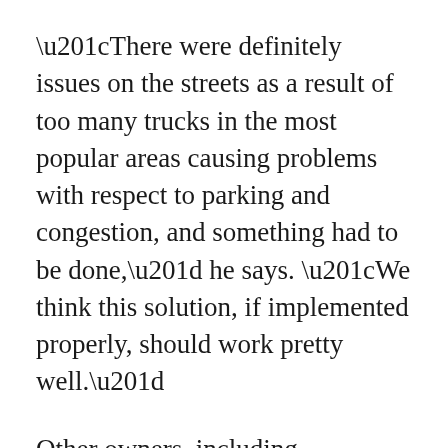“There were definitely issues on the streets as a result of too many trucks in the most popular areas causing problems with respect to parking and congestion, and something had to be done,” he says. “We think this solution, if implemented properly, should work pretty well.”
Other owners, including TaKorean’s Mike Lenard, are concerned about the implementation of these regulations.
“I think it takes a lot of government